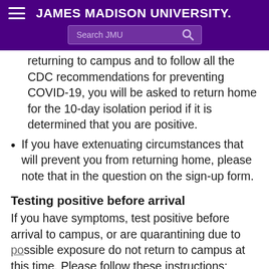JAMES MADISON UNIVERSITY. Search JMU
returning to campus and to follow all the CDC recommendations for preventing COVID-19, you will be asked to return home for the 10-day isolation period if it is determined that you are positive.
If you have extenuating circumstances that will prevent you from returning home, please note that in the question on the sign-up form.
Testing positive before arrival
If you have symptoms, test positive before arrival to campus, or are quarantining due to possible exposure do not return to campus at this time. Please follow these instructions: